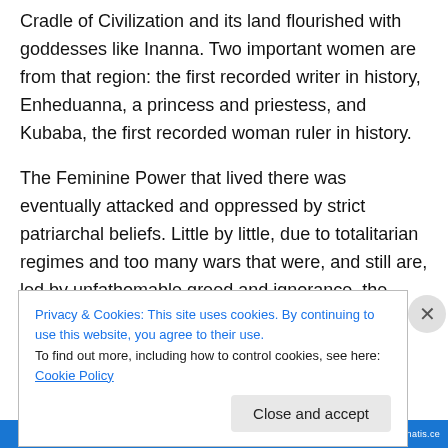Cradle of Civilization and its land flourished with goddesses like Inanna. Two important women are from that region: the first recorded writer in history, Enheduanna, a princess and priestess, and Kubaba, the first recorded woman ruler in history.
The Feminine Power that lived there was eventually attacked and oppressed by strict patriarchal beliefs. Little by little, due to totalitarian regimes and too many wars that were, and still are, led by unfathomable greed and ignorance, the Cradle of Civilization has turned into a
Privacy & Cookies: This site uses cookies. By continuing to use this website, you agree to their use.
To find out more, including how to control cookies, see here: Cookie Policy
Close and accept